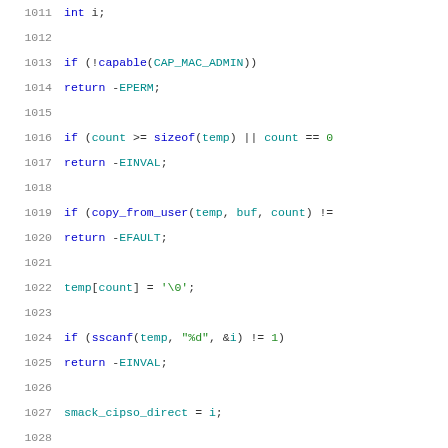Source code snippet, lines 1011-1032, C programming language showing file operations and security capability checks